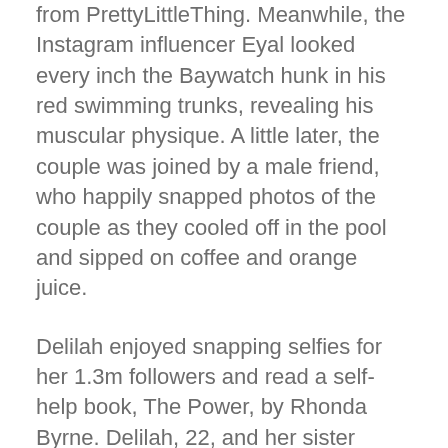from PrettyLittleThing. Meanwhile, the Instagram influencer Eyal looked every inch the Baywatch hunk in his red swimming trunks, revealing his muscular physique. A little later, the couple was joined by a male friend, who happily snapped photos of the couple as they cooled off in the pool and sipped on coffee and orange juice.
Delilah enjoyed snapping selfies for her 1.3m followers and read a self-help book, The Power, by Rhonda Byrne. Delilah, 22, and her sister Amelia, 19, are the daughters of Clash of the Titans (1981) and Mad Men star Harry Hamlin and The Real Housewives of Beverly Hills star Lisa Rinna. Harry Hamlin and Lisa Rinna have been married for 23 years.